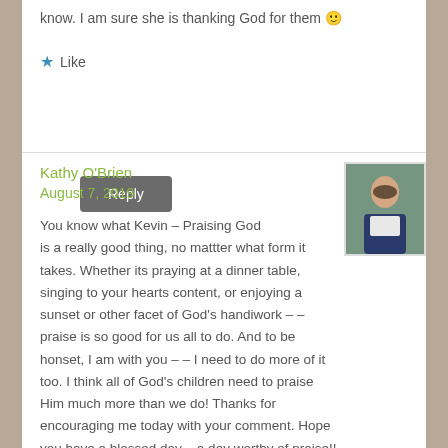know. I am sure she is thanking God for them 🙂
Like
Reply
Kathy O'Brien
August 7, 2019
You know what Kevin – Praising God is a really good thing, no mattter what form it takes. Whether its praying at a dinner table, singing to your hearts content, or enjoying a sunset or other facet of God's handiwork – – praise is so good for us all to do. And to be honset, I am with you – – I need to do more of it too. I think all of God's children need to praise Him much more than we do! Thanks for encouraging me today with your comment. Hope you have a blessed day – a day worthy of praise!!